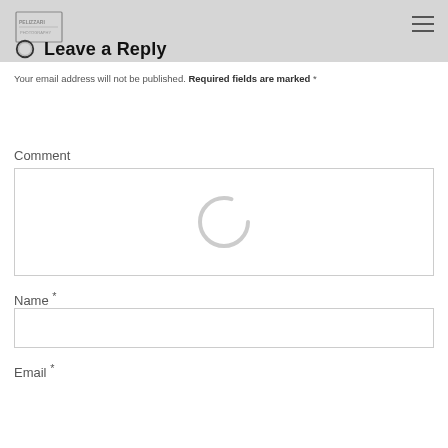Pelizzari — Leave a Reply
Your email address will not be published. Required fields are marked *
Comment
[Figure (other): Large comment textarea input field with a circular spinner/loading indicator centered inside it]
Name *
[Figure (other): Name text input field]
Email *